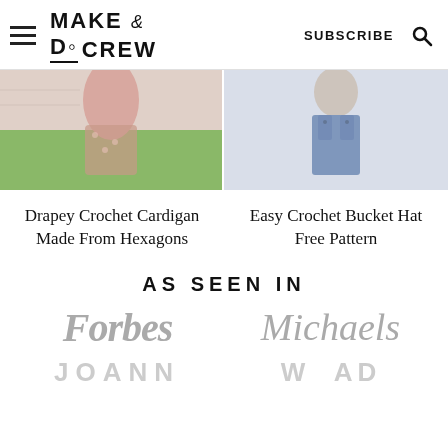Make & Do Crew — SUBSCRIBE
[Figure (photo): Two photos side by side: left shows a person in a floral dress near a brick wall with greenery; right shows a person in denim overalls against a light background]
Drapey Crochet Cardigan Made From Hexagons
Easy Crochet Bucket Hat Free Pattern
AS SEEN IN
[Figure (logo): Forbes logo in gray italic serif font]
[Figure (logo): Michaels logo in gray cursive/script font]
[Figure (logo): JOANN logo partially visible at bottom in light gray]
[Figure (logo): Additional logo partially visible at bottom right]